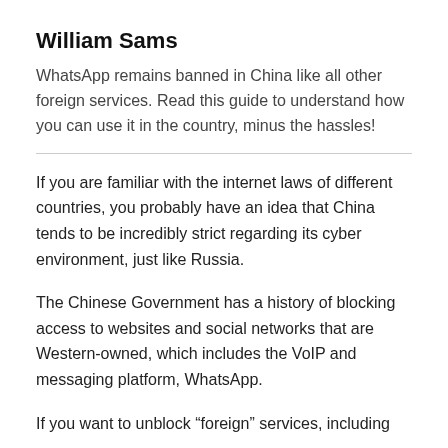William Sams
WhatsApp remains banned in China like all other foreign services. Read this guide to understand how you can use it in the country, minus the hassles!
If you are familiar with the internet laws of different countries, you probably have an idea that China tends to be incredibly strict regarding its cyber environment, just like Russia.
The Chinese Government has a history of blocking access to websites and social networks that are Western-owned, which includes the VoIP and messaging platform, WhatsApp.
If you want to unblock “foreign” services, including